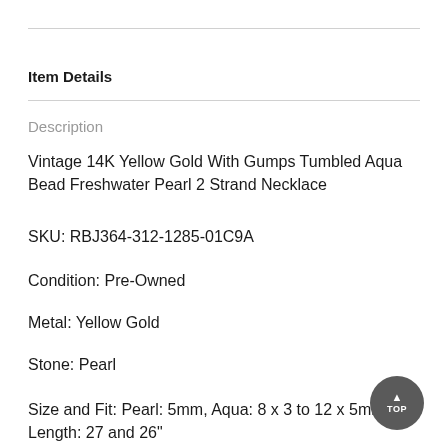Item Details
Description
Vintage 14K Yellow Gold With Gumps Tumbled Aqua Bead Freshwater Pearl 2 Strand Necklace
SKU: RBJ364-312-1285-01C9A
Condition: Pre-Owned
Metal: Yellow Gold
Stone: Pearl
Size and Fit: Pearl: 5mm, Aqua: 8 x 3 to 12 x 5mm, Length: 27 and 26"